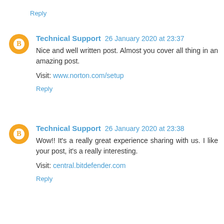Reply
Technical Support 26 January 2020 at 23:37
Nice and well written post. Almost you cover all thing in an amazing post.
Visit: www.norton.com/setup
Reply
Technical Support 26 January 2020 at 23:38
Wow!! It's a really great experience sharing with us. I like your post, it's a really interesting.
Visit: central.bitdefender.com
Reply